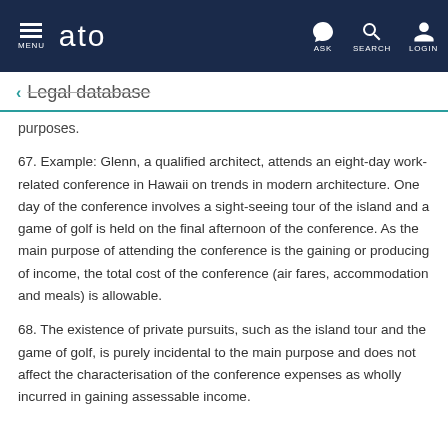MENU | ato | ASK | SEARCH | LOGIN
← Legal database
purposes.
67. Example: Glenn, a qualified architect, attends an eight-day work-related conference in Hawaii on trends in modern architecture. One day of the conference involves a sight-seeing tour of the island and a game of golf is held on the final afternoon of the conference. As the main purpose of attending the conference is the gaining or producing of income, the total cost of the conference (air fares, accommodation and meals) is allowable.
68. The existence of private pursuits, such as the island tour and the game of golf, is purely incidental to the main purpose and does not affect the characterisation of the conference expenses as wholly incurred in gaining assessable income.